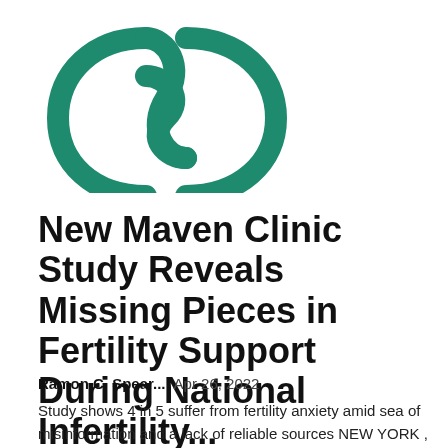[Figure (logo): Maven Clinic teal/green logo: abstract intertwined curves forming an infinity-like symbol]
New Maven Clinic Study Reveals Missing Pieces in Fertility Support During National Infertility...
Ramon C. Spear...   Apr 26, 2022
Study shows 4 in 5 suffer from fertility anxiety amid sea of misinformation and a lack of reliable sources NEW YORK , April 26, 2022 /PRNewswire/ -- Maven Clinic, the world's largest virtual clinic for women's and family health